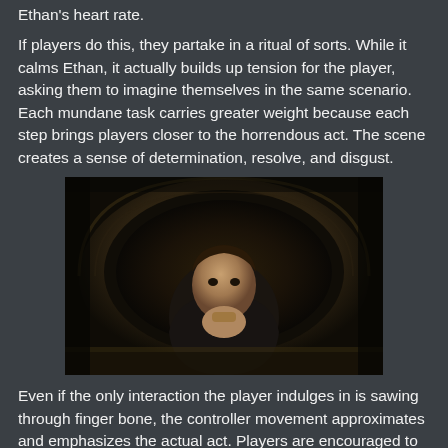Ethan's heart rate.
If players do this, they partake in a ritual of sorts. While it calms Ethan, it actually builds up tension for the player, asking them to imagine themselves in the same scenario. Each mundane task carries greater weight because each step brings players closer to the horrendous act. The scene creates a sense of determination, resolve, and disgust.
[Figure (screenshot): A video game screenshot showing a male character crawling through a dark tunnel, holding something in his hand, viewed from close up in a circular tunnel opening.]
Even if the only interaction the player indulges in is sawing through finger bone, the controller movement approximates and emphasizes the actual act. Players are encouraged to ponder the dilemma, stew within the emotions it creates, and face the grotesque challenge. Despite its digital nature, the sequence of events is incredibly cringe worthy. This scene